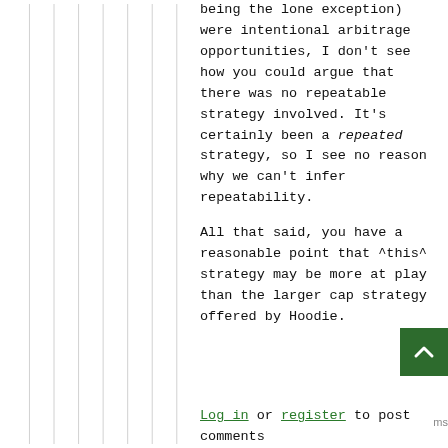being the lone exception) were intentional arbitrage opportunities, I don't see how you could argue that there was no repeatable strategy involved. It's certainly been a repeated strategy, so I see no reason why we can't infer repeatability.
All that said, you have a reasonable point that ^this^ strategy may be more at play than the larger cap strategy offered by Hoodie.
Log in or register to post comments